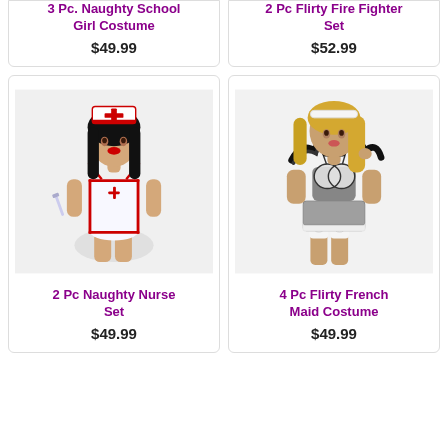[Figure (photo): 3 Pc. Naughty School Girl Costume product photo (partially visible, cropped at top)]
3 Pc. Naughty School Girl Costume
$49.99
[Figure (photo): 2 Pc Flirty Fire Fighter Set product photo (partially visible, cropped at top)]
2 Pc Flirty Fire Fighter Set
$52.99
[Figure (photo): 2 Pc Naughty Nurse Set — woman in white nurse costume with red trim and nurse hat]
2 Pc Naughty Nurse Set
$49.99
[Figure (photo): 4 Pc Flirty French Maid Costume — woman in black and white French maid lingerie set with feather boa]
4 Pc Flirty French Maid Costume
$49.99